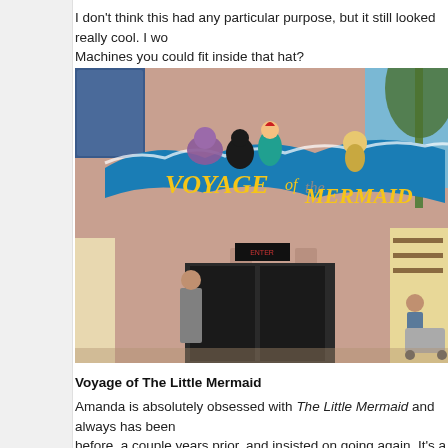I don’t think this had any particular purpose, but it still looked really cool.  I wo… Machines you could fit inside that hat?
[Figure (photo): Photo of the entrance to 'Voyage of The Little Mermaid' attraction, showing a large colorful sign with the attraction name in yellow text on a blue wave-shaped board, with character statues including Ariel, Ursula, and others on top of the building facade. People are visible near the entrance.]
Voyage of The Little Mermaid
Amanda is absolutely obsessed with The Little Mermaid and always has been… before, a couple years prior, and insisted on going again.  It’s a live theatre sh… least gives the illusion of being so.  It’s aimed at little ones, and fans of the film…